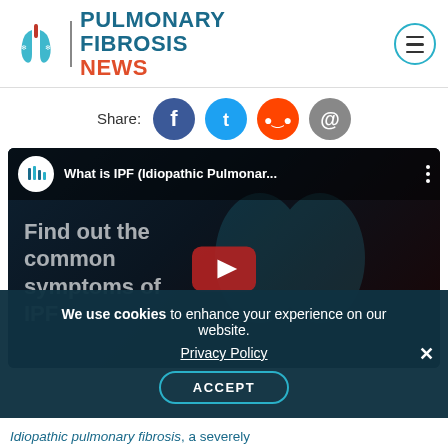[Figure (logo): Pulmonary Fibrosis News logo with lung icon and hamburger menu button]
Share:
[Figure (infographic): Social share icons: Facebook, Twitter, Reddit, Email]
[Figure (screenshot): YouTube video thumbnail: What is IPF (Idiopathic Pulmonar...) with text 'Find out the common symptoms of IPF' and play button]
We use cookies to enhance your experience on our website. Privacy Policy ACCEPT
Idiopathic pulmonary fibrosis, a severely